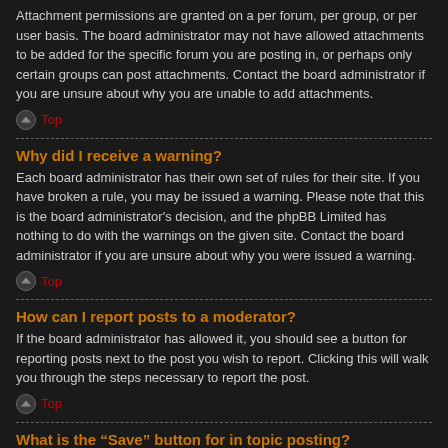Attachment permissions are granted on a per forum, per group, or per user basis. The board administrator may not have allowed attachments to be added for the specific forum you are posting in, or perhaps only certain groups can post attachments. Contact the board administrator if you are unsure about why you are unable to add attachments.
Top
Why did I receive a warning?
Each board administrator has their own set of rules for their site. If you have broken a rule, you may be issued a warning. Please note that this is the board administrator's decision, and the phpBB Limited has nothing to do with the warnings on the given site. Contact the board administrator if you are unsure about why you were issued a warning.
Top
How can I report posts to a moderator?
If the board administrator has allowed it, you should see a button for reporting posts next to the post you wish to report. Clicking this will walk you through the steps necessary to report the post.
Top
What is the “Save” button for in topic posting?
This allows you to save drafts to be completed and submitted at a later date. To reload a saved draft, visit the User Control Panel.